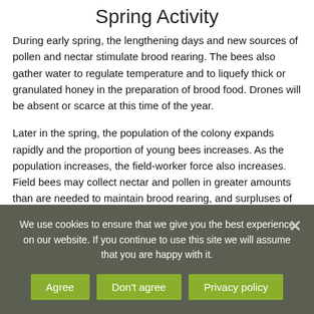Spring Activity
During early spring, the lengthening days and new sources of pollen and nectar stimulate brood rearing. The bees also gather water to regulate temperature and to liquefy thick or granulated honey in the preparation of brood food. Drones will be absent or scarce at this time of the year.
Later in the spring, the population of the colony expands rapidly and the proportion of young bees increases. As the population increases, the field-worker force also increases. Field bees may collect nectar and pollen in greater amounts than are needed to maintain brood rearing, and surpluses of
We use cookies to ensure that we give you the best experience on our website. If you continue to use this site we will assume that you are happy with it.
Agree | Don't agree | Privacy policy